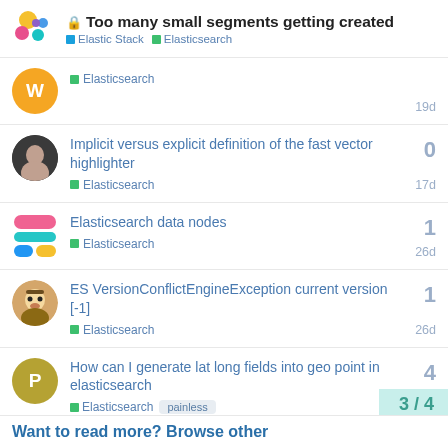Too many small segments getting created — Elastic Stack | Elasticsearch
Elasticsearch — 19d
Implicit versus explicit definition of the fast vector highlighter — Elasticsearch — 17d — replies: 0
Elasticsearch data nodes — Elasticsearch — 26d — replies: 1
ES VersionConflictEngineException current version [-1] — Elasticsearch — 26d — replies: 1
How can I generate lat long fields into geo point in elasticsearch — Elasticsearch — painless — 10d — replies: 4
3 / 4
Want to read more? Browse other